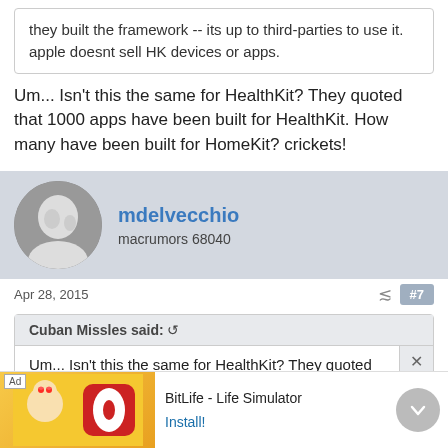they built the framework -- its up to third-parties to use it. apple doesnt sell HK devices or apps.
Um... Isn't this the same for HealthKit? They quoted that 1000 apps have been built for HealthKit. How many have been built for HomeKit? crickets!
mdelvecchio
macrumors 68040
Apr 28, 2015
#7
Cuban Missles said: ↺
Um... Isn't this the same for HealthKit? They quoted that 1000 apps have been built for HealthKit. How many have been built for HomeKit?
[Figure (infographic): Advertisement banner for BitLife - Life Simulator app with cartoon character and logo]